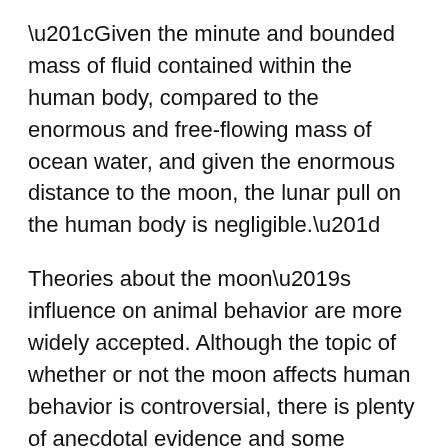“Given the minute and bounded mass of fluid contained within the human body, compared to the enormous and free-flowing mass of ocean water, and given the enormous distance to the moon, the lunar pull on the human body is negligible.”
Theories about the moon’s influence on animal behavior are more widely accepted. Although the topic of whether or not the moon affects human behavior is controversial, there is plenty of anecdotal evidence and some scientific evidence indicating that it does.
I, for one, have a difficult time sleeping around the full moon. And my husband, who suffered from Alzheimer’s disease, exhibited more agitated behavior when the moon was full.
Studies have shown that the moon’s phases have an impact on…